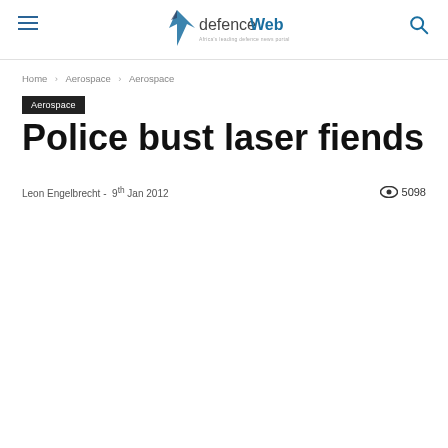defenceWeb — Africa's leading defence news portal
Home › Aerospace › Aerospace
Aerospace
Police bust laser fiends
Leon Engelbrecht -  9th Jan 2012   👁 5098